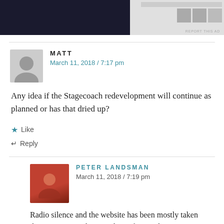[Figure (screenshot): Partial advertisement banner at top of page, dark left panel and light right panel]
REPORT THIS AD
MATT
March 11, 2018 / 7:17 pm
Any idea if the Stagecoach redevelopment will continue as planned or has that dried up?
Like
Reply
PETER LANDSMAN
March 11, 2018 / 7:19 pm
Radio silence and the website has been mostly taken down. Not a good sign. Silence from Valemount too.